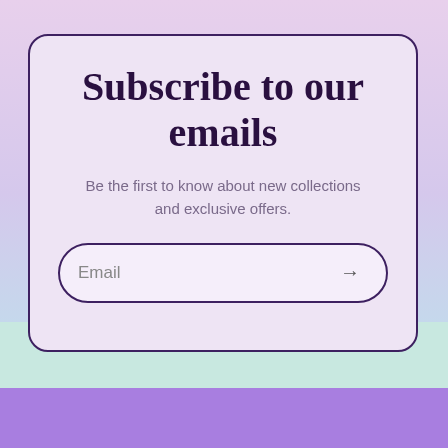Subscribe to our emails
Be the first to know about new collections and exclusive offers.
Email →